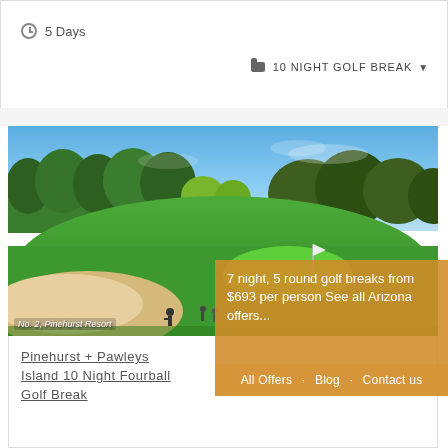5 Days
10 NIGHT GOLF BREAK
[Figure (photo): Aerial/wide view of Pinehurst Resort golf course No. 2 — green fairway with sand bunker in foreground, pine trees and oak trees in background under blue sky.]
No. 2, Pinehurst Resort
7 night, 5 round golf breaks from $693 per person See all Arizona offers...
Pinehurst + Pawleys Island 10 Night Fourball Golf Break
All Offers · Blog · Contact us